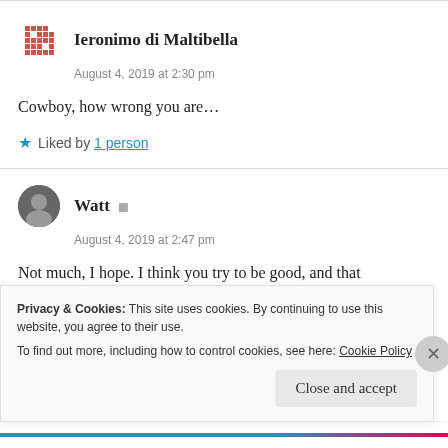Ieronimo di Maltibella
August 4, 2019 at 2:30 pm
Cowboy, how wrong you are…
★ Liked by 1 person
Watt
August 4, 2019 at 2:47 pm
Not much, I hope. I think you try to be good, and that
Privacy & Cookies: This site uses cookies. By continuing to use this website, you agree to their use. To find out more, including how to control cookies, see here: Cookie Policy
Close and accept